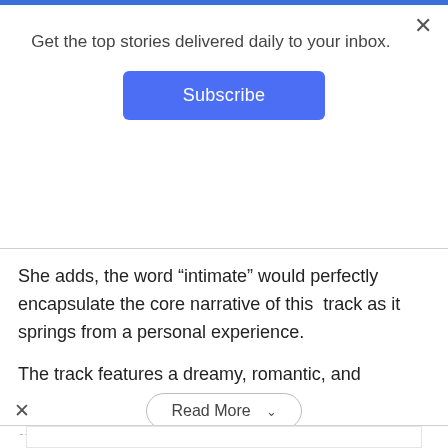Get the top stories delivered daily to your inbox.
Subscribe
She adds, the word “intimate” would perfectly encapsulate the core narrative of this track as it springs from a personal experience.
The track features a dreamy, romantic, and sentimental tune in simple and minimal instrumentation to optimize listener experience.
Read More
Fiber Laser Cutting
Hydraulic Press Brake. Shearing Machines. Plasma Cutting Machine
DENER USA
Open